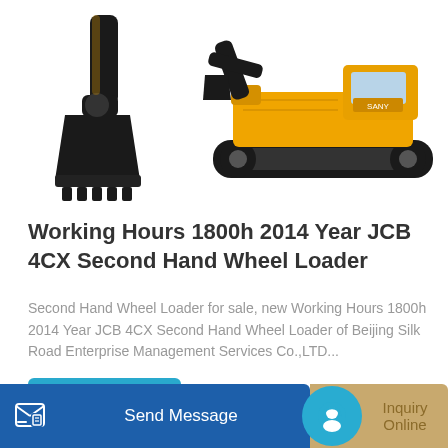[Figure (photo): Two construction machine photos: left shows excavator bucket/arm close-up, right shows full yellow crawler excavator on white background]
Working Hours 1800h 2014 Year JCB 4CX Second Hand Wheel Loader
Second Hand Wheel Loader for sale, new Working Hours 1800h 2014 Year JCB 4CX Second Hand Wheel Loader of Beijing Silk Road Enterprise Management Services Co.,LTD...
Learn More
[Figure (photo): Bottom bar with Send Message button (blue) on left and Inquiry Online button (tan/gold) on right, with partial construction machine image in background]
Send Message
Inquiry Online